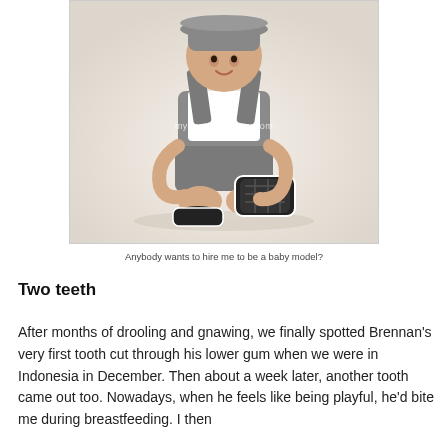[Figure (photo): A baby boy sitting on a white studio floor, wearing grey overalls over a white shirt and a grey hat, holding up his shoe showing the sole. Watermark reads 'mywanderingstory.com']
Anybody wants to hire me to be a baby model?
Two teeth
After months of drooling and gnawing, we finally spotted Brennan's very first tooth cut through his lower gum when we were in Indonesia in December. Then about a week later, another tooth came out too. Nowadays, when he feels like being playful, he'd bite me during breastfeeding. I then